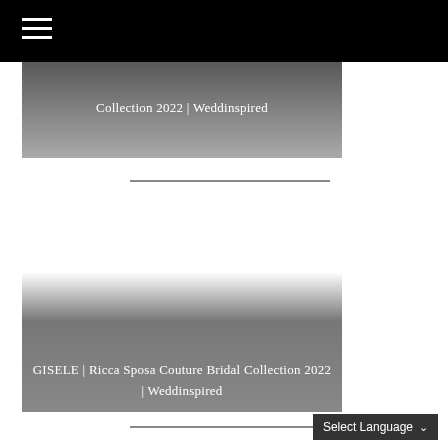☰
[Figure (screenshot): Dark grey gradient card banner with text 'Collection 2022 | Weddinspired']
Collection 2022 | Weddinspired
[Figure (screenshot): Card with gradient overlay showing text 'GISELE | Ricca Sposa Couture Bridal Collection 2022 | Weddinspired']
GISELE | Ricca Sposa Couture Bridal Collection 2022 | Weddinspired
Select Language